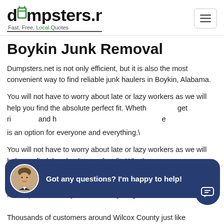dumpsters.net — Fast, Free, Local Quotes
Boykin Junk Removal
Dumpsters.net is not only efficient, but it is also the most convenient way to find reliable junk haulers in Boykin, Alabama.
You will not have to worry about late or lazy workers as we will help you find the absolute perfect fit. Whether you need to get rid of and have is an option for everyone and everything.\
[Figure (illustration): Chat popup overlay with avatar photo of smiling man in suit, dark navy rounded rectangle bubble with text 'Got any questions? I'm happy to help!' and a navy chat icon button at bottom right]
Thousands of customers around Wilcox County just like you want for someone to help them use the Dully...